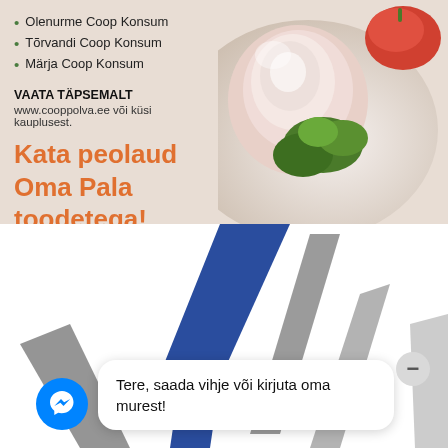Olenurme Coop Konsum
Tõrvandi Coop Konsum
Märja Coop Konsum
VAATA TÄPSEMALT
www.cooppolva.ee või küsi kauplusest.
Kata peolaud
Oma Pala toodetega!
[Figure (photo): Food photo: rolled ham/meat slices with parsley garnish and tomato on a plate, shown on right side of top section]
[Figure (logo): Partial logo graphic with blue and gray angular shapes against white background]
Tere, saada vihje või kirjuta oma murest!